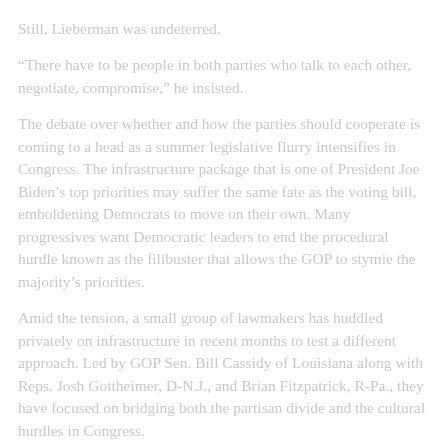Still, Lieberman was undeterred.
“There have to be people in both parties who talk to each other, negotiate, compromise,” he insisted.
The debate over whether and how the parties should cooperate is coming to a head as a summer legislative flurry intensifies in Congress. The infrastructure package that is one of President Joe Biden’s top priorities may suffer the same fate as the voting bill, emboldening Democrats to move on their own. Many progressives want Democratic leaders to end the procedural hurdle known as the filibuster that allows the GOP to stymie the majority’s priorities.
Amid the tension, a small group of lawmakers has huddled privately on infrastructure in recent months to test a different approach. Led by GOP Sen. Bill Cassidy of Louisiana along with Reps. Josh Gottheimer, D-N.J., and Brian Fitzpatrick, R-Pa., they have focused on bridging both the partisan divide and the cultural hurdles in Congress.